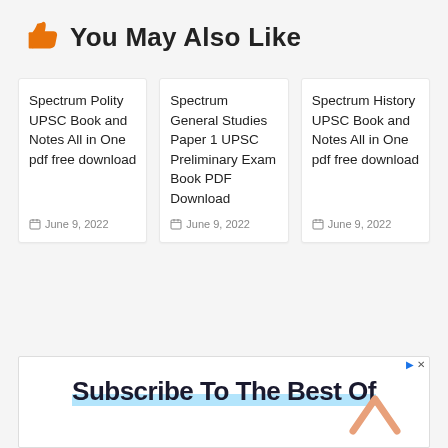👍 You May Also Like
Spectrum Polity UPSC Book and Notes All in One pdf free download
June 9, 2022
Spectrum General Studies Paper 1 UPSC Preliminary Exam Book PDF Download
June 9, 2022
Spectrum History UPSC Book and Notes All in One pdf free download
June 9, 2022
[Figure (other): Advertisement banner with text 'Subscribe To The Best Of' and navigation arrows]